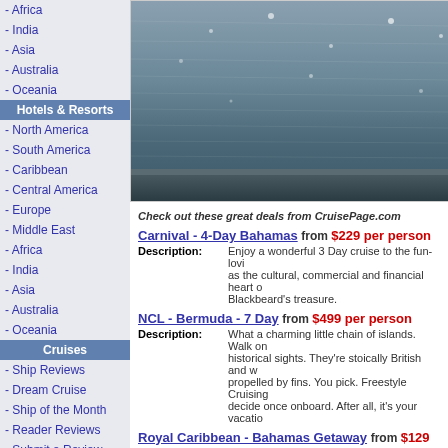- Africa
- India
- Asia
- Australia
- Oceania
Hotels & Resorts
- North America
- South America
- Caribbean
- Central America
- Europe
- Middle East
- Africa
- India
- Asia
- Australia
- Oceania
Cruises
- Ship Reviews
- Dream Cruise
- Ship of the Month
- Reader Reviews
- Submit a Review
- Millennium Cruise
- Join Cruise Club
- Cruise News
- Cruise Survey
- Cruise Jobs
- Special Needs
Reviews
[Figure (photo): Ocean water with sunlight reflections, boat hull visible at bottom]
Check out these great deals from CruisePage.com
Carnival - 4-Day Bahamas  from $229 per person
Description: Enjoy a wonderful 3 Day cruise to the fun-loving as the cultural, commercial and financial heart of Blackbeard's treasure.
NCL - Bermuda - 7 Day from $499 per person
Description: What a charming little chain of islands. Walk on historical sights. They're stoically British and w propelled by fins. You pick. Freestyle Cruising decide once onboard. After all, it's your vacation
Royal Caribbean - Bahamas Getaway from $129 per person
Description: Experience the beautiful ports of Nassau and R the Bahamas. Absorb everything island life has waters and walk the endless white sand beaches
Holland America - Eastern Caribbean from From $599 per person